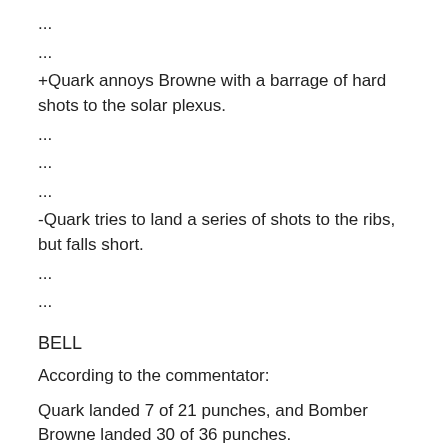...
...
+Quark annoys Browne with a barrage of hard shots to the solar plexus.
...
...
...
-Quark tries to land a series of shots to the ribs, but falls short.
...
...
BELL
According to the commentator:
Quark landed 7 of 21 punches, and Bomber Browne landed 30 of 36 punches.